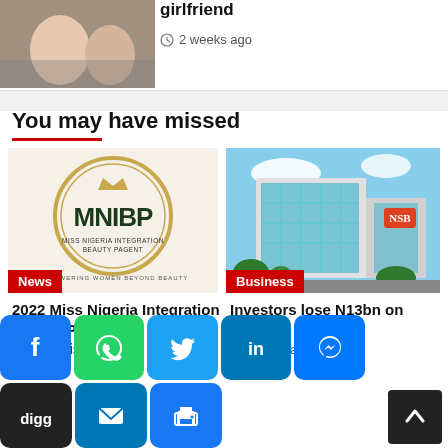[Figure (photo): Cropped top of page showing two people at a table]
girlfriend
2 weeks ago
You may have missed
[Figure (logo): Miss Nigeria Integration Beauty Pageant (MNIBP) logo with circle and tagline 'Empowering Women Beyond Beauty']
[Figure (photo): NSB bank building exterior with blue glass facade]
News
Business
2022 Miss Nigeria Integration Beauty Pageant to h... – Organisers
Investors lose N13bn on NGX
4 hours ago
[Figure (infographic): Social sharing buttons: Facebook, WhatsApp, Twitter, LinkedIn, Messenger, Digg, Email, Print]